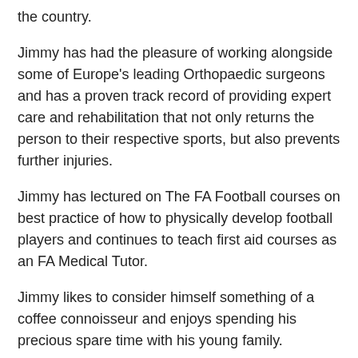the country.
Jimmy has had the pleasure of working alongside some of Europe's leading Orthopaedic surgeons and has a proven track record of providing expert care and rehabilitation that not only returns the person to their respective sports, but also prevents further injuries.
Jimmy has lectured on The FA Football courses on best practice of how to physically develop football players and continues to teach first aid courses as an FA Medical Tutor.
Jimmy likes to consider himself something of a coffee connoisseur and enjoys spending his precious spare time with his young family.
Previous Work Exp: NHS, Private Practice, Ipswich Town FC, Crystal Palace FC, Manchester City FC, The FA, University Of Suffolk.